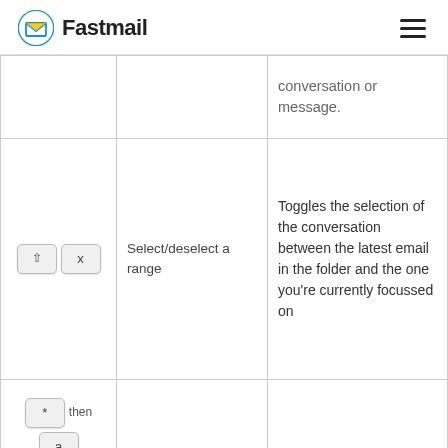Fastmail
| Key | Action | Description |
| --- | --- | --- |
|  |  | conversation or message. |
| ⇧ x | Select/deselect a range | Toggles the selection of the conversation between the latest email in the folder and the one you're currently focussed on |
| * then a or | Select all | Select all conversations |